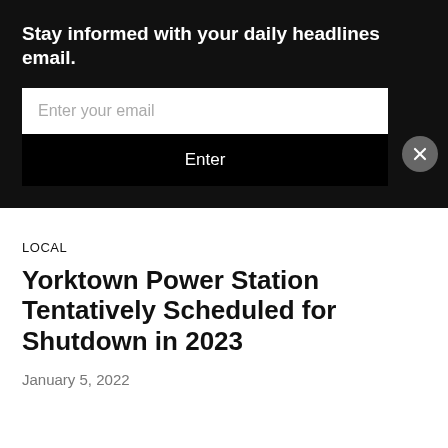Stay informed with your daily headlines email.
Enter your email
Enter
LOCAL
Yorktown Power Station Tentatively Scheduled for Shutdown in 2023
January 5, 2022